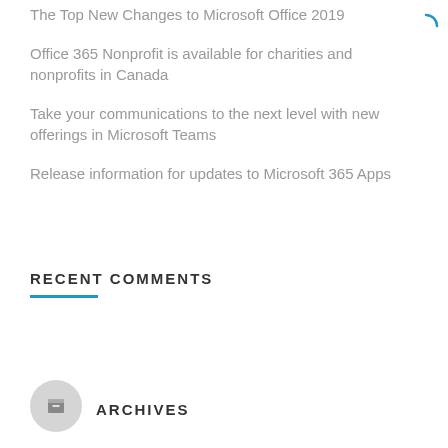The Top New Changes to Microsoft Office 2019
Office 365 Nonprofit is available for charities and nonprofits in Canada
Take your communications to the next level with new offerings in Microsoft Teams
Release information for updates to Microsoft 365 Apps
RECENT COMMENTS
ARCHIVES